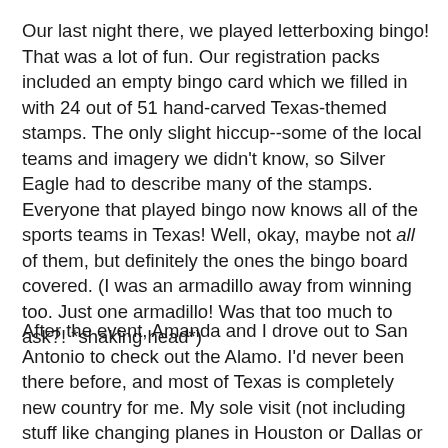Our last night there, we played letterboxing bingo! That was a lot of fun. Our registration packs included an empty bingo card which we filled in with 24 out of 51 hand-carved Texas-themed stamps. The only slight hiccup--some of the local teams and imagery we didn't know, so Silver Eagle had to describe many of the stamps. Everyone that played bingo now knows all of the sports teams in Texas! Well, okay, maybe not all of them, but definitely the ones the bingo board covered. (I was an armadillo away from winning too. Just one armadillo! Was that too much to ask?! *shaking head*)
After the event, Amanda and I drove out to San Antonio to check out the Alamo. I'd never been there before, and most of Texas is completely new country for me. My sole visit (not including stuff like changing planes in Houston or Dallas or driving on the Interstate through the panhandle) had been a couple of days in Dallas so the Austin area was all new for me--and I loved it! It was awesome! Bastrop, Austin and San Antonio. Thanks so much to everyone who organized the event and so many others who donated stamps and